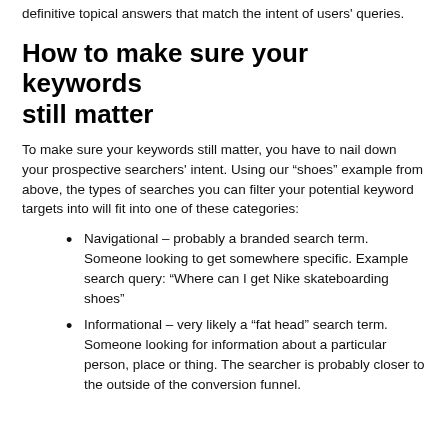definitive topical answers that match the intent of users' queries.
How to make sure your keywords still matter
To make sure your keywords still matter, you have to nail down your prospective searchers' intent. Using our “shoes” example from above, the types of searches you can filter your potential keyword targets into will fit into one of these categories:
Navigational – probably a branded search term. Someone looking to get somewhere specific. Example search query: “Where can I get Nike skateboarding shoes”
Informational – very likely a “fat head” search term. Someone looking for information about a particular person, place or thing. The searcher is probably closer to the outside of the conversion funnel.